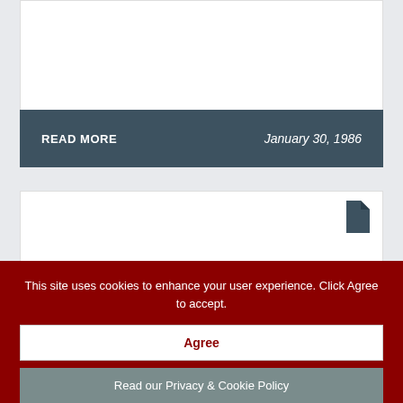[Figure (other): White card/content area at top of page]
READ MORE	January 30, 1986
[Figure (other): White card/content area with document icon in top right corner]
This site uses cookies to enhance your user experience. Click Agree to accept.
Agree
Read our Privacy & Cookie Policy